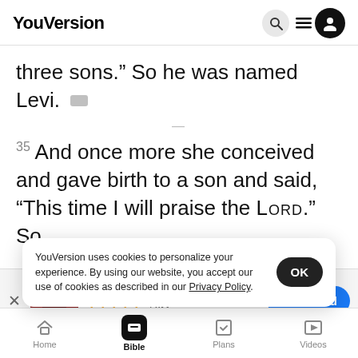YouVersion
three sons.” So he was named Levi.
35 And once more she conceived and gave birth to a son and said, “This time I will praise the LORD.” So
[Figure (screenshot): The Bible App promotional banner with app icon (Holy Bible), star rating 7.9M, and Download button]
Berean St
Learn Mor
YouVersion uses cookies to personalize your experience. By using our website, you accept our use of cookies as described in our Privacy Policy.
Home  Bible  Plans  Videos